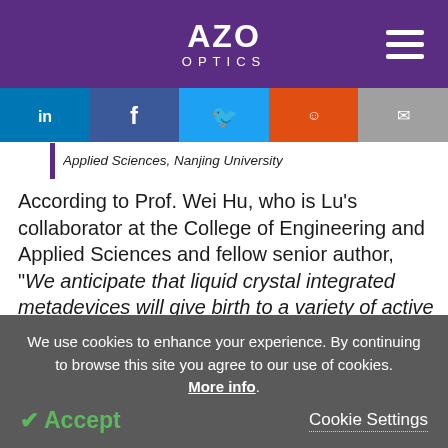AZO OPTICS
[Figure (screenshot): Social media sharing buttons: LinkedIn, Facebook, Twitter, Reddit, Email]
Applied Sciences, Nanjing University
According to Prof. Wei Hu, who is Lu’s collaborator at the College of Engineering and Applied Sciences and fellow senior author, “We anticipate that liquid crystal integrated metadevices will give birth to a variety of active planar photonic elements to enhance the functional flexibility of optical systems.”
We use cookies to enhance your experience. By continuing to browse this site you agree to our use of cookies. More info.